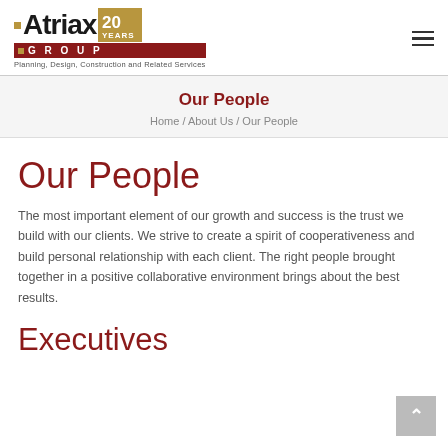[Figure (logo): Atriax Group 20 Years logo with tagline 'Planning, Design, Construction and Related Services']
Our People
Home / About Us / Our People
Our People
The most important element of our growth and success is the trust we build with our clients. We strive to create a spirit of cooperativeness and build personal relationship with each client. The right people brought together in a positive collaborative environment brings about the best results.
Executives